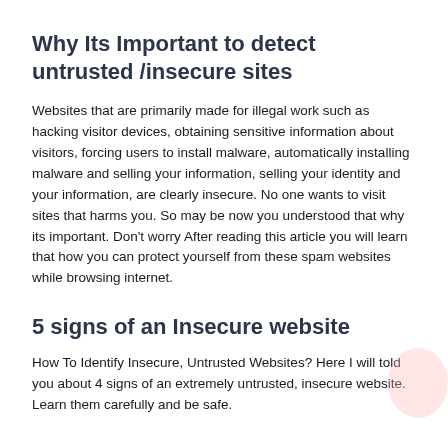Why Its Important to detect untrusted /insecure sites
Websites that are primarily made for illegal work such as hacking visitor devices, obtaining sensitive information about visitors, forcing users to install malware, automatically installing malware and selling your information, selling your identity and your information, are clearly insecure. No one wants to visit sites that harms you. So may be now you understood that why its important. Don't worry After reading this article you will learn that how you can protect yourself from these spam websites while browsing internet.
5 signs of an Insecure website
How To Identify Insecure, Untrusted Websites? Here I will told you about 4 signs of an extremely untrusted, insecure website. Learn them carefully and be safe.